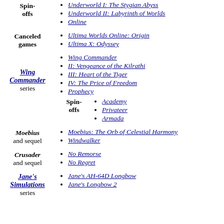Spin-offs
Underworld I: The Stygian Abyss
Underworld II: Labyrinth of Worlds
Online
Canceled games
Ultima Worlds Online: Origin
Ultima X: Odyssey
Wing Commander series
Wing Commander
II: Vengeance of the Kilrathi
III: Heart of the Tiger
IV: The Price of Freedom
Prophecy
Spin-offs
Academy
Privateer
Armada
Moebius and sequel
Moebius: The Orb of Celestial Harmony
Windwalker
Crusader and sequel
No Remorse
No Regret
Jane's Simulations series
Jane's AH-64D Longbow
Jane's Longbow 2